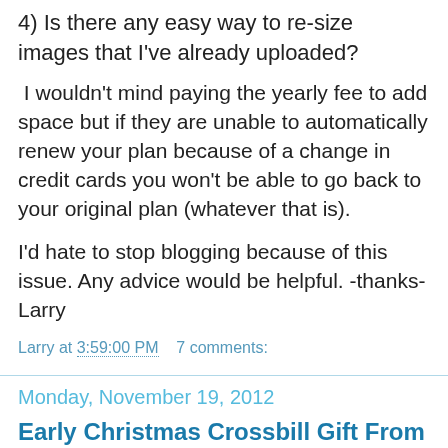4) Is there any easy way to re-size images that I've already uploaded?
I wouldn't mind paying the yearly fee to add space but if they are unable to automatically renew your plan because of a change in credit cards you won't be able to go back to your original plan (whatever that is).
I'd hate to stop blogging because of this issue. Any advice would be helpful. -thanks-Larry
Larry at 3:59:00 PM   7 comments:
Monday, November 19, 2012
Early Christmas Crossbill Gift From Canada
[Figure (photo): Partial photo of a crossbill bird, showing blue sky and green foliage background]